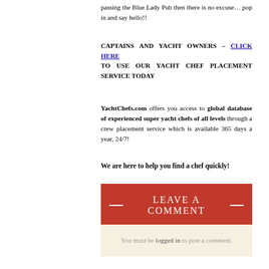passing the Blue Lady Pub then there is no excuse… pop in and say hello!!
CAPTAINS AND YACHT OWNERS – CLICK HERE TO USE OUR YACHT CHEF PLACEMENT SERVICE TODAY
YachtChefs.com offers you access to global database of experienced super yacht chefs of all levels through a crew placement service which is available 365 days a year, 24/7!
We are here to help you find a chef quickly!
LEAVE A COMMENT
You must be logged in to post a comment.